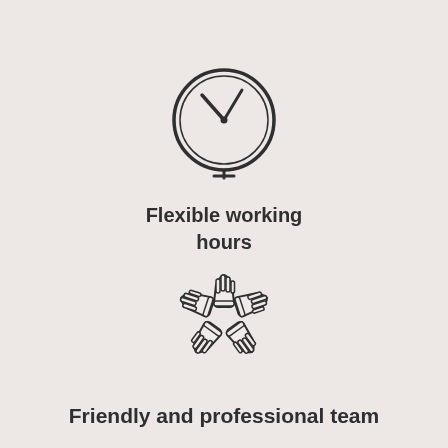[Figure (illustration): Clock icon with two hands pointing to approximately 10:10, outline style]
Flexible working hours
[Figure (illustration): Five hands forming a circle/star shape, outline style, teamwork icon]
Friendly and professional team